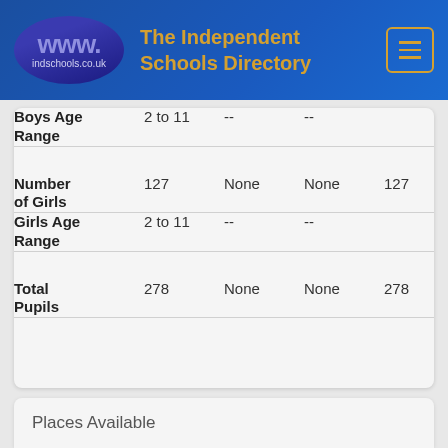www.indschools.co.uk — The Independent Schools Directory
|  |  |  |  |  |
| --- | --- | --- | --- | --- |
| Boys Age Range | 2 to 11 | -- | -- |  |
|  |  |  |  |  |
| Number of Girls | 127 | None | None | 127 |
| Girls Age Range | 2 to 11 | -- | -- |  |
|  |  |  |  |  |
| Total Pupils | 278 | None | None | 278 |
|  |  |  |  |  |
Places Available